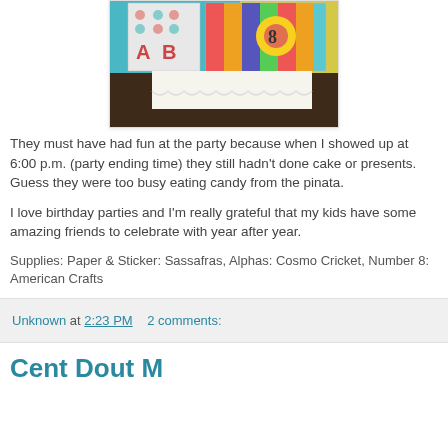[Figure (photo): Photo of birthday party decorations/cards on a table with tablecloth, teal and brown background]
They must have had fun at the party because when I showed up at 6:00 p.m. (party ending time) they still hadn't done cake or presents. Guess they were too busy eating candy from the pinata.
I love birthday parties and I'm really grateful that my kids have some amazing friends to celebrate with year after year.
Supplies: Paper & Sticker: Sassafras, Alphas: Cosmo Cricket, Number 8: American Crafts
Unknown at 2:23 PM   2 comments:
Cent Dout M